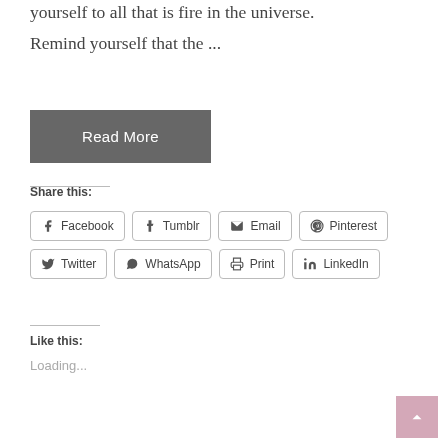yourself to all that is fire in the universe. Remind yourself that the ...
[Figure (other): Read More button - dark grey rectangular button with white text]
Share this:
[Figure (other): Social share buttons: Facebook, Tumblr, Email, Pinterest, Twitter, WhatsApp, Print, LinkedIn]
Like this:
Loading...